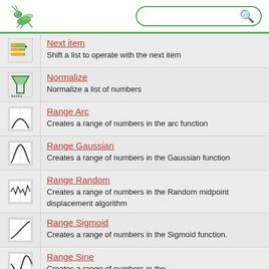Grasshopper documentation header with logo and search bar
Next item
Shift a list to operate with the next item
Normalize
Normalize a list of numbers
Range Arc
Creates a range of numbers in the arc function
Range Gaussian
Creates a range of numbers in the Gaussian function
Range Random
Creates a range of numbers in the Random midpoint displacement algorithm
Range Sigmoid
Creates a range of numbers in the Sigmoid function.
Range Sine
Creates a range of numbers in the